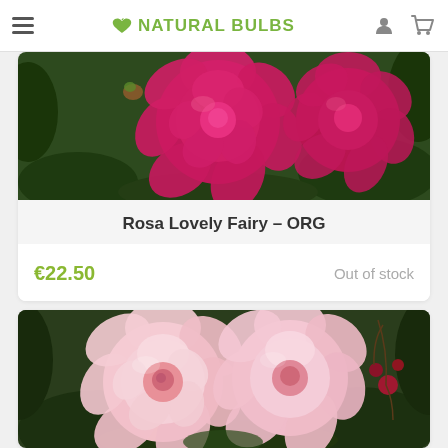Natural Bulbs
[Figure (photo): Close-up of vibrant deep pink/magenta rose blooms with layered petals and dark green leaves in the background]
Rosa Lovely Fairy – ORG
€22.50  Out of stock
[Figure (photo): Close-up of two soft pink rose blooms with delicate layered petals, small red rose buds, and dark green foliage in the background]